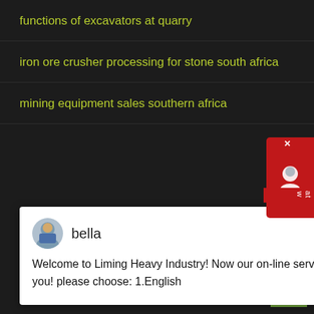functions of excavators at quarry
iron ore crusher processing for stone south africa
mining equipment sales southern africa
[Figure (screenshot): Chat popup from Liming Heavy Industry website with avatar of 'bella' and message: Welcome to Liming Heavy Industry! Now our on-line service is chatting with you! please choose: 1.English]
Libero Pretium Luctus
[Figure (photo): Photo of heavy industrial mining/crushing machinery in a factory setting with red and black equipment]